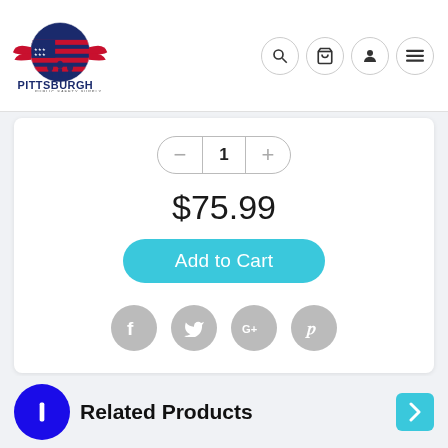[Figure (logo): Pittsburgh Public Safety Supply logo with American flag circle, eagle wings, and silhouettes of public safety personnel]
[Figure (infographic): Navigation icons: search (magnifying glass), cart, user/account, hamburger menu — each in a circular border]
1
$75.99
Add to Cart
[Figure (infographic): Social sharing icons: Facebook, Twitter, Google+, Pinterest — each in a grey circle]
[Figure (infographic): Blue circle with white vertical bar/pause icon]
Related Products